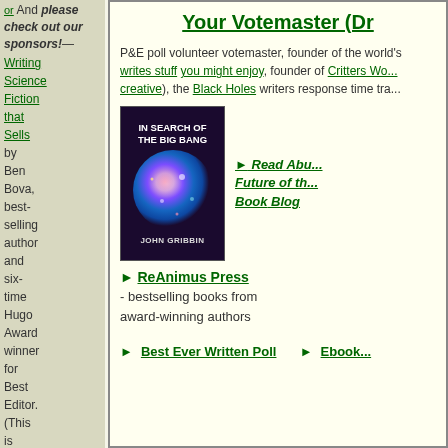or  And please check out our sponsors!—
Writing Science Fiction that Sells by Ben Bova, best-selling author and six-time Hugo Award winner for Best Editor. (This is one of the books your ol' Critter Captain learned from himself, and I highly recommend
Your Votemaster (Dr...
P&E poll volunteer votemaster, founder of the world's writes stuff you might enjoy, founder of Critters Wo... creative), the Black Holes writers response time tra...
[Figure (photo): Book cover: IN SEARCH OF THE BIG BANG by John Gribbin, showing a colorful nebula on dark background]
▶ Read Abu... Future of th... Book Blog
▶ ReAnimus Press - bestselling books from award-winning authors
▶ Best Ever Written Poll  ▶ Ebook...